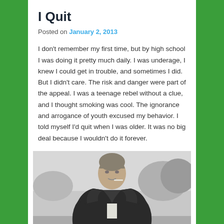I Quit
Posted on January 2, 2013
I don't remember my first time, but by high school I was doing it pretty much daily. I was underage, I knew I could get in trouble, and sometimes I did. But I didn't care. The risk and danger were part of the appeal. I was a teenage rebel without a clue, and I thought smoking was cool. The ignorance and arrogance of youth excused my behavior. I told myself I'd quit when I was older. It was no big deal because I wouldn't do it forever.
[Figure (photo): Black and white photograph of a young man with styled hair wearing a leather jacket and smoking a cigarette, outdoors with trees in background]